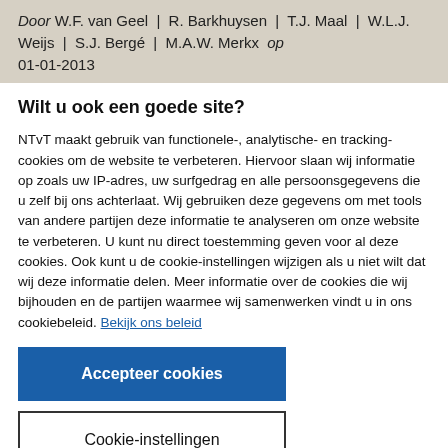Door W.F. van Geel | R. Barkhuysen | T.J. Maal | W.L.J. Weijs | S.J. Bergé | M.A.W. Merkx op 01-01-2013
Wilt u ook een goede site?
NTvT maakt gebruik van functionele-, analytische- en tracking-cookies om de website te verbeteren. Hiervoor slaan wij informatie op zoals uw IP-adres, uw surfgedrag en alle persoonsgegevens die u zelf bij ons achterlaat. Wij gebruiken deze gegevens om met tools van andere partijen deze informatie te analyseren om onze website te verbeteren. U kunt nu direct toestemming geven voor al deze cookies. Ook kunt u de cookie-instellingen wijzigen als u niet wilt dat wij deze informatie delen. Meer informatie over de cookies die wij bijhouden en de partijen waarmee wij samenwerken vindt u in ons cookiebeleid. Bekijk ons beleid
Accepteer cookies
Cookie-instellingen